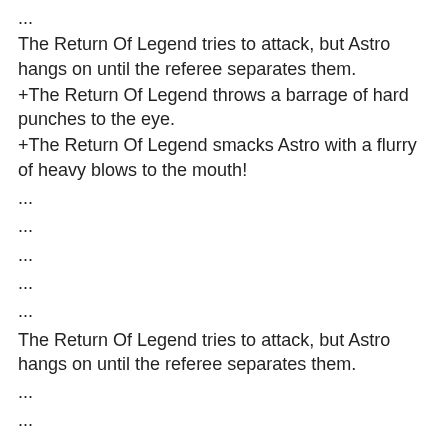...
The Return Of Legend tries to attack, but Astro hangs on until the referee separates them.
+The Return Of Legend throws a barrage of hard punches to the eye.
+The Return Of Legend smacks Astro with a flurry of heavy blows to the mouth!
...
...
...
...
...
The Return Of Legend tries to attack, but Astro hangs on until the referee separates them.
...
...
...
+Astro jolts The Return Of Legend with a flurry of hard punches to the stomach.